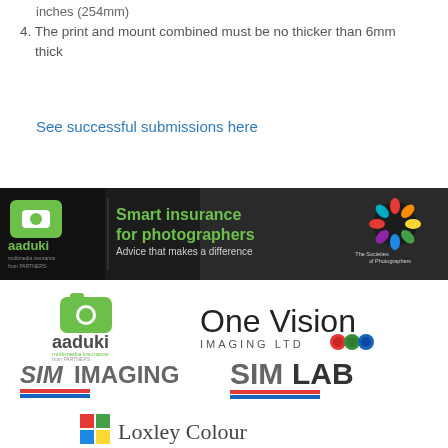inches (254mm)
4. The print and mount combined must be no thicker than 6mm thick
See successful submissions here
[Figure (advertisement): Aaduki multimedia insurance banner: 'Smart insurance for photographers. Advice that makes a difference.' with The Societies of Photographers logo on right.]
[Figure (logo): Aaduki multimedia insurance logo - green camera icon with aaduki text below]
[Figure (logo): One Vision Imaging Ltd logo with colored circle icons]
[Figure (logo): SIM IMAGING logo with red and blue underline bars]
[Figure (logo): SIMLAB logo with red and blue underline bars]
[Figure (logo): Loxley Colour logo with colored squares]